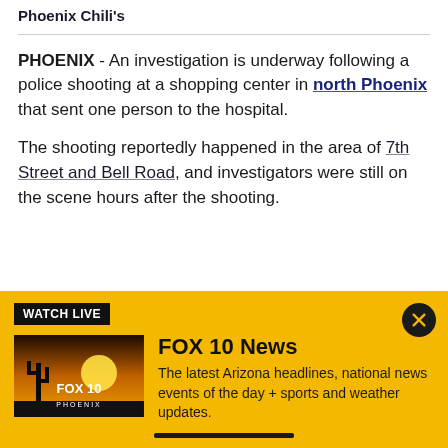Phoenix Chili's
PHOENIX - An investigation is underway following a police shooting at a shopping center in north Phoenix that sent one person to the hospital.
The shooting reportedly happened in the area of 7th Street and Bell Road, and investigators were still on the scene hours after the shooting.
[Figure (infographic): FOX 10 News Watch Live banner in yellow background with FOX 10 Phoenix thumbnail image, close button, and description text about Arizona headlines, national news, sports and weather updates.]